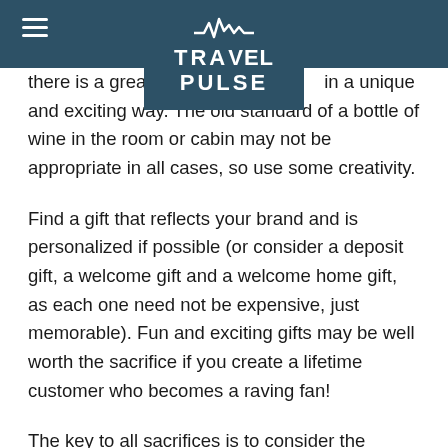TravelPulse
there is a great opportunity to do so in a unique and exciting way. The old standard of a bottle of wine in the room or cabin may not be appropriate in all cases, so use some creativity.
Find a gift that reflects your brand and is personalized if possible (or consider a deposit gift, a welcome gift and a welcome home gift, as each one need not be expensive, just memorable). Fun and exciting gifts may be well worth the sacrifice if you create a lifetime customer who becomes a raving fan!
The key to all sacrifices is to consider the ultimate gain of winning the client for life and receiving multiple referrals.